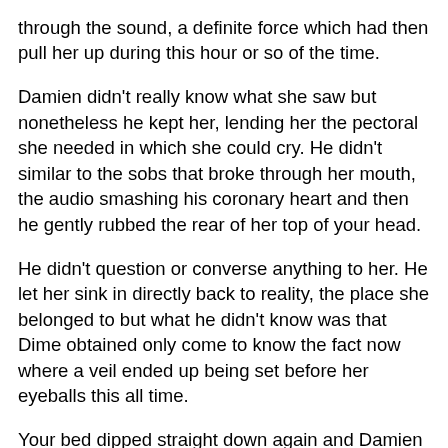through the sound, a definite force which had then pull her up during this hour or so of the time.
Damien didn't really know what she saw but nonetheless he kept her, lending her the pectoral she needed in which she could cry. He didn't similar to the sobs that broke through her mouth, the audio smashing his coronary heart and then he gently rubbed the rear of her top of your head.
He didn't question or converse anything to her. He let her sink in directly back to reality, the place she belonged to but what he didn't know was that Dime obtained only come to know the fact now where a veil ended up being set before her eyeballs this all time.
Your bed dipped straight down again and Damien received back to be seated when in front of her. He could realize that she was in struggle. Her brain was aiming to understanding a thing that he could see in the eyes. Her sentiments noticed empty like she was returning to sleep at night but even during her slumber he could feel her thoughts and how they shifted. He didn't have to know what can have transpired as it wasn't her desire who had caught